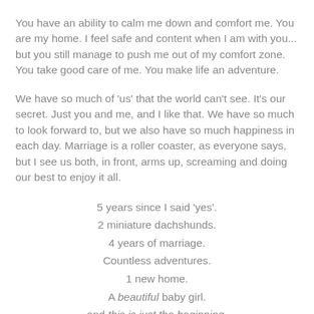You have an ability to calm me down and comfort me.  You are my home.  I feel safe and content when I am with you... but you still manage to push me out of my comfort zone.  You take good care of me.  You make life an adventure.
We have so much of 'us' that the world can't see.  It's our secret.  Just you and me, and I like that.  We have so much to look forward to, but we also have so much happiness in each day.  Marriage is a roller coaster, as everyone says, but I see us both, in front, arms up, screaming and doing our best to enjoy it all.
5 years since I said 'yes'.
2 miniature dachshunds.
4 years of marriage.
Countless adventures.
1 new home.
A beautiful baby girl.
and this is just the beginning.